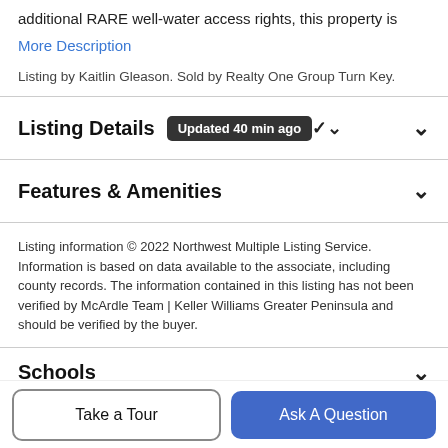additional RARE well-water access rights, this property is
More Description
Listing by Kaitlin Gleason. Sold by Realty One Group Turn Key.
Listing Details  Updated 40 min ago
Features & Amenities
Listing information © 2022 Northwest Multiple Listing Service. Information is based on data available to the associate, including county records. The information contained in this listing has not been verified by McArdle Team | Keller Williams Greater Peninsula and should be verified by the buyer.
Schools
Take a Tour
Ask A Question